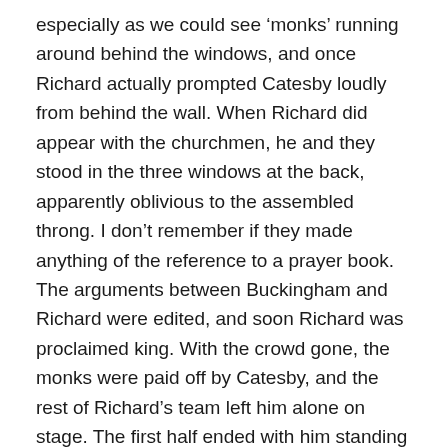especially as we could see ‘monks’ running around behind the windows, and once Richard actually prompted Catesby loudly from behind the wall. When Richard did appear with the churchmen, he and they stood in the three windows at the back, apparently oblivious to the assembled throng. I don’t remember if they made anything of the reference to a prayer book. The arguments between Buckingham and Richard were edited, and soon Richard was proclaimed king. With the crowd gone, the monks were paid off by Catesby, and the rest of Richard’s team left him alone on stage. The first half ended with him standing in that middle window, grinning, as the lights went down.
The second half opened with the gathering of the women, intending to visit young King Edward in the Tower. Earlier I